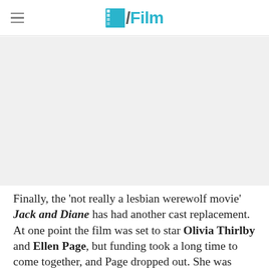/Film
[Figure (photo): Gray placeholder image area for an article image related to Jack and Diane film]
Finally, the 'not really a lesbian werewolf movie' Jack and Diane has had another cast replacement. At one point the film was set to star Olivia Thirlby and Ellen Page, but funding took a long time to come together, and Page dropped out. She was replaced